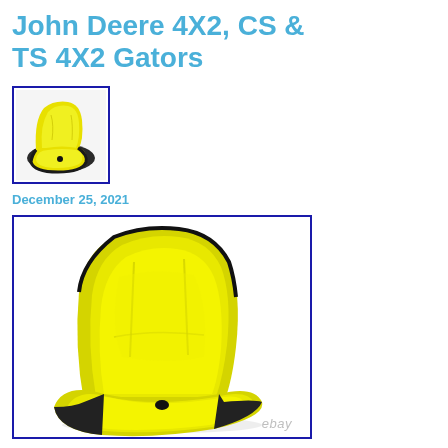John Deere 4X2, CS & TS 4X2 Gators
[Figure (photo): Small thumbnail image of a yellow John Deere Gator seat with black trim and a black center button, shown in a blue-bordered box]
December 25, 2021
[Figure (photo): Large product photo of a yellow John Deere Gator seat with black side trim and a black center drain/button, shown in a blue-bordered box with 'ebay' watermark in the lower right]